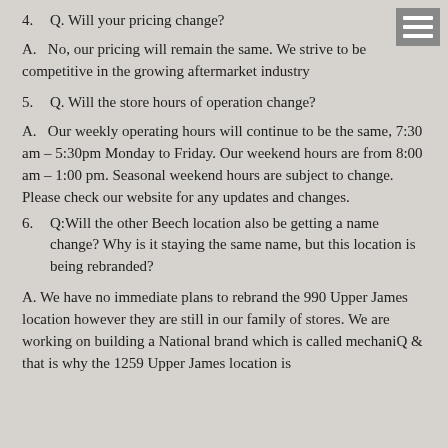4.   Q. Will your pricing change?
A.   No, our pricing will remain the same. We strive to be competitive in the growing aftermarket industry
5.   Q. Will the store hours of operation change?
A.   Our weekly operating hours will continue to be the same, 7:30 am – 5:30pm Monday to Friday. Our weekend hours are from 8:00 am – 1:00 pm. Seasonal weekend hours are subject to change. Please check our website for any updates and changes.
6.   Q:Will the other Beech location also be getting a name change? Why is it staying the same name, but this location is being rebranded?
A. We have no immediate plans to rebrand the 990 Upper James location however they are still in our family of stores. We are working on building a National brand which is called mechaniQ & that is why the 1259 Upper James location is